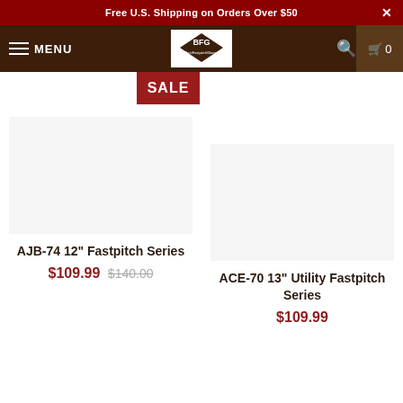Free U.S. Shipping on Orders Over $50
[Figure (logo): BFG logo with diamond shape icon and text 'BestFastpitchGloves.com' in white on dark brown navigation bar]
SALE
AJB-74 12" Fastpitch Series
$109.99 $140.00
ACE-70 13" Utility Fastpitch Series
$109.99